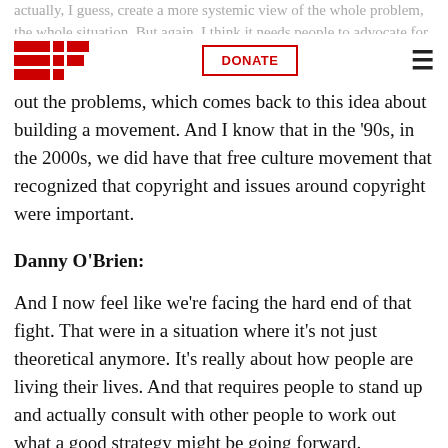EFF | DONATE | ☰
actually, I guess, create a more systemic view of the whole problem, the whole situation. But again, I think it needs people to advocate for it, or at least to point out the problems, which comes back to this idea about building a movement. And I know that in the '90s, in the 2000s, we did have that free culture movement that recognized that copyright and issues around copyright were important.
Danny O'Brien:
And I now feel like we're facing the hard end of that fight. That were in a situation where it's not just theoretical anymore. It's really about how people are living their lives. And that requires people to stand up and actually consult with other people to work out what a good strategy might be going forward.